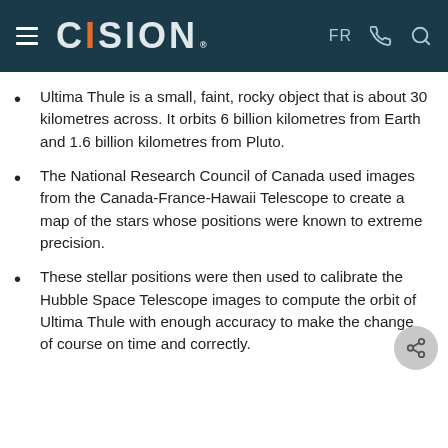CISION — FR
Ultima Thule is a small, faint, rocky object that is about 30 kilometres across. It orbits 6 billion kilometres from Earth and 1.6 billion kilometres from Pluto.
The National Research Council of Canada used images from the Canada-France-Hawaii Telescope to create a map of the stars whose positions were known to extreme precision.
These stellar positions were then used to calibrate the Hubble Space Telescope images to compute the orbit of Ultima Thule with enough accuracy to make the change of course on time and correctly.